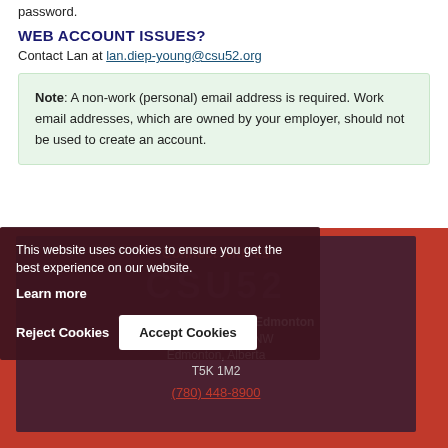password.
WEB ACCOUNT ISSUES?
Contact Lan at lan.diep-young@csu52.org
Note: A non-work (personal) email address is required. Work email addresses, which are owned by your employer, should not be used to create an account.
Connect with us
We're located in central Edmonton
10212 112 Street NW
Edmonton, Alberta
T5K 1M2
(780) 448-8900
This website uses cookies to ensure you get the best experience on our website. Learn more
Reject Cookies
Accept Cookies